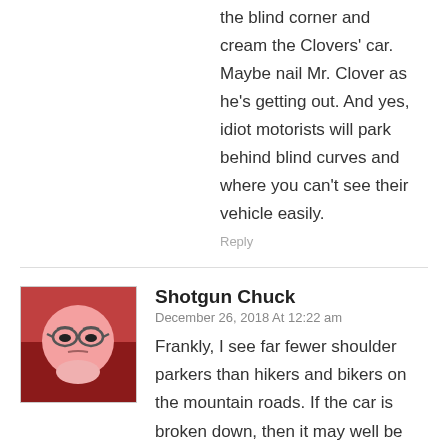the blind corner and cream the Clovers' car. Maybe nail Mr. Clover as he's getting out. And yes, idiot motorists will park behind blind curves and where you can't see their vehicle easily.
Reply
[Figure (illustration): Avatar image of Shotgun Chuck — a cartoon face with glasses, pinkish/red round face, stern expression, on a reddish gradient background]
Shotgun Chuck
December 26, 2018 At 12:22 am
Frankly, I see far fewer shoulder parkers than hikers and bikers on the mountain roads. If the car is broken down, then it may well be unoccupied when you get there, and will definitely be easier to spot and avoid than a bicyclist (a lack of illumination, combined with the fact that that a bike really isn't much bigger than the rider themself, actually makes the problem worse as they can easily hide behind trees, rocks, and other things that a car might stick out from behind, or